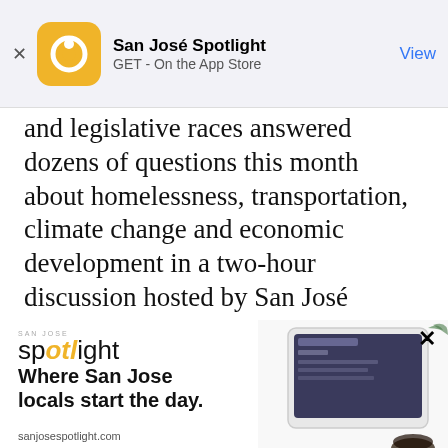[Figure (screenshot): App Store banner for San José Spotlight app with orange circular logo, app name, GET - On the App Store subtitle, and View button]
and legislative races answered dozens of questions this month about homelessness, transportation, climate change and economic development in a two-hour discussion hosted by San José
[Figure (screenshot): San José Spotlight advertisement overlay showing logo, tagline 'Where San Jose locals start the day.' and sanjosespotlight.com URL with device image]
EMAIL ADDRESS
SUBSCRIBE
Thanks, I'm not interested or already a subscriber